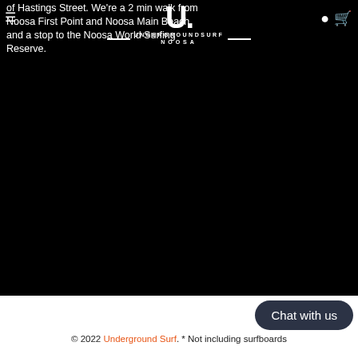of Hastings Street. We're a 2 min walk from Noosa First Point and Noosa Main Beach, and a stop to the Noosa World Surfing Reserve.
[Figure (logo): Underground Surf Noosa logo — large U letter with horizontal lines and text UNDERGROUNDSURF NOOSA]
[Figure (photo): Large black/dark area (image background)]
Chat with us
© 2022 Underground Surf. * Not including surfboards